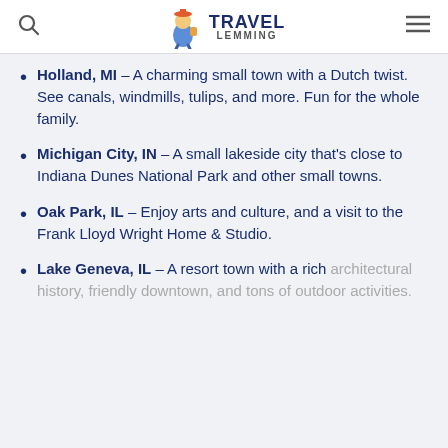Travel Lemming
Holland, MI – A charming small town with a Dutch twist. See canals, windmills, tulips, and more. Fun for the whole family.
Michigan City, IN – A small lakeside city that's close to Indiana Dunes National Park and other small towns.
Oak Park, IL – Enjoy arts and culture, and a visit to the Frank Lloyd Wright Home & Studio.
Lake Geneva, IL – A resort town with a rich architectural history, friendly downtown, and tons of outdoor activities.